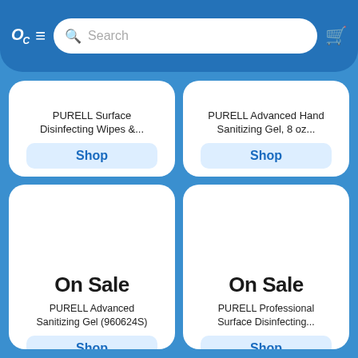[Figure (screenshot): Mobile shopping app header with logo 'OC', hamburger menu, search bar, and cart icon on blue background]
PURELL Surface Disinfecting Wipes &...
Shop
PURELL Advanced Hand Sanitizing Gel, 8 oz...
Shop
[Figure (photo): Multiple bottles of PURELL Advanced Sanitizing Gel arranged in a grid]
On Sale
PURELL Advanced Sanitizing Gel (960624S)
Shop
[Figure (photo): Multiple canisters of PURELL Professional Surface Disinfecting wipes arranged in rows]
On Sale
PURELL Professional Surface Disinfecting...
Shop